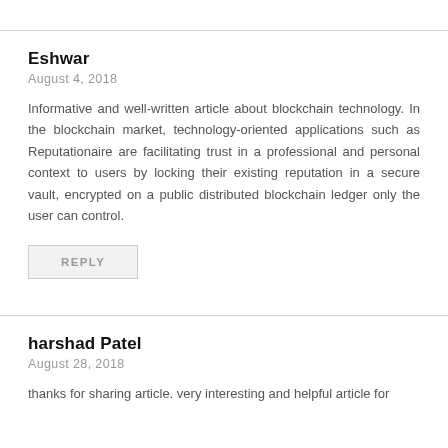Eshwar
August 4, 2018
Informative and well-written article about blockchain technology. In the blockchain market, technology-oriented applications such as Reputationaire are facilitating trust in a professional and personal context to users by locking their existing reputation in a secure vault, encrypted on a public distributed blockchain ledger only the user can control.
REPLY
harshad Patel
August 28, 2018
thanks for sharing article. very interesting and helpful article for